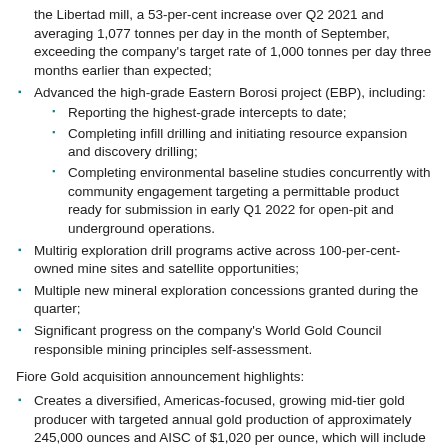the Libertad mill, a 53-per-cent increase over Q2 2021 and averaging 1,077 tonnes per day in the month of September, exceeding the company's target rate of 1,000 tonnes per day three months earlier than expected;
Advanced the high-grade Eastern Borosi project (EBP), including: Reporting the highest-grade intercepts to date; Completing infill drilling and initiating resource expansion and discovery drilling; Completing environmental baseline studies concurrently with community engagement targeting a permittable product ready for submission in early Q1 2022 for open-pit and underground operations.
Multirig exploration drill programs active across 100-per-cent-owned mine sites and satellite opportunities;
Multiple new mineral exploration concessions granted during the quarter;
Significant progress on the company's World Gold Council responsible mining principles self-assessment.
Fiore Gold acquisition announcement highlights:
Creates a diversified, Americas-focused, growing mid-tier gold producer with targeted annual gold production of approximately 245,000 ounces and AISC of $1,020 per ounce, which will include Nevada gold production of 50,000 ounces per year from the Pan gold mine;
Combined entities will be supported by a mineral resource base of 4.4 million ounces (measured and indicated) and an additional 3.1 million ounces of inferred resources;
Growth will be driven by near-term development of the federally